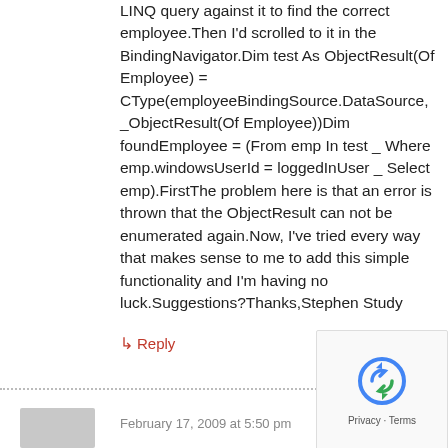LINQ query against it to find the correct employee.Then I'd scrolled to it in the BindingNavigator.Dim test As ObjectResult(Of Employee) = CType(employeeBindingSource.DataSource, _ObjectResult(Of Employee))Dim foundEmployee = (From emp In test _ Where emp.windowsUserId = loggedInUser _ Select emp).FirstThe problem here is that an error is thrown that the ObjectResult can not be enumerated again.Now, I've tried every way that makes sense to me to add this simple functionality and I'm having no luck.Suggestions?Thanks,Stephen Study
↳ Reply
February 17, 2009 at 5:50 pm